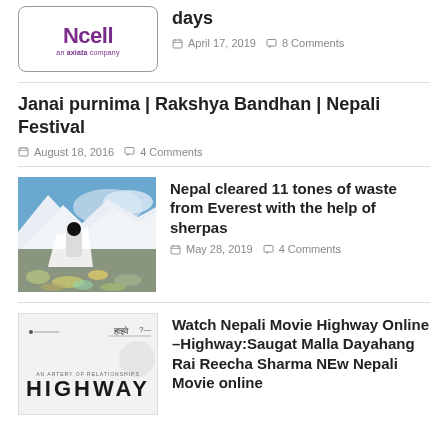[Figure (logo): Ncell - an axiata company logo in purple text inside a rounded rectangle border]
days
April 17, 2019  8 Comments
Janai purnima | Rakshya Bandhan | Nepali Festival
August 18, 2016  4 Comments
[Figure (photo): Person wearing a white cloth standing on Mount Everest surrounded by trash and garbage at high altitude with snowy mountains in background]
Nepal cleared 11 tones of waste from Everest with the help of sherpas
May 28, 2019  4 Comments
[Figure (photo): Highway Nepali movie poster with the word HIGHWAY in large bold letters]
Watch Nepali Movie Highway Online –Highway:Saugat Malla Dayahang Rai Reecha Sharma NEw Nepali Movie online